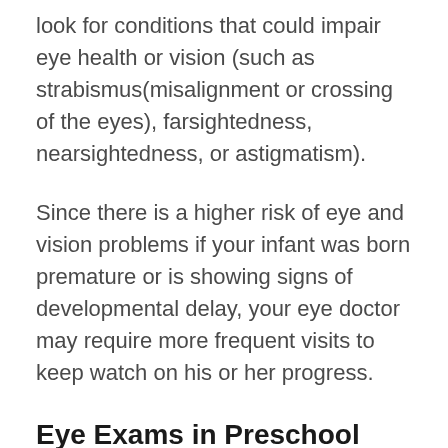look for conditions that could impair eye health or vision (such as strabismus(misalignment or crossing of the eyes), farsightedness, nearsightedness, or astigmatism).
Since there is a higher risk of eye and vision problems if your infant was born premature or is showing signs of developmental delay, your eye doctor may require more frequent visits to keep watch on his or her progress.
Eye Exams in Preschool Children: 2-5
The toddler and preschool age is a period where children experience drastic growth in intellectual and motor skills. During this time they will develop the fine motor skills, hand-eye coordination and perceptual abilities that will prepare them to read and write, play...